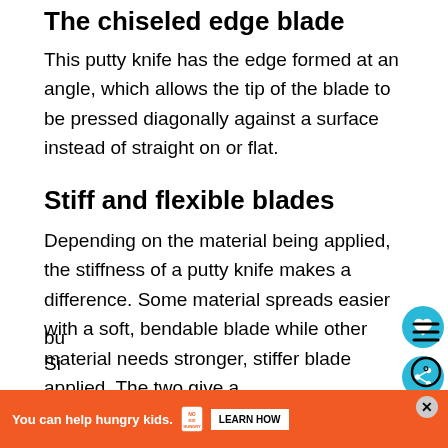The chiseled edge blade
This putty knife has the edge formed at an angle, which allows the tip of the blade to be pressed diagonally against a surface instead of straight on or flat.
Stiff and flexible blades
Depending on the material being applied, the stiffness of a putty knife makes a difference. Some material spreads easier with a soft, bendable blade while other material needs stronger, stiffer blade applied. The two give a bu... Si...
[Figure (other): Advertisement banner: orange background with text 'You can help hungry kids.' and No Kid Hungry logo with a 'LEARN HOW' button. Close button (X) in upper right.]